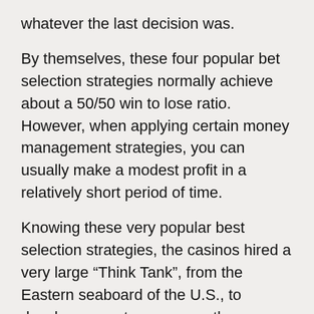whatever the last decision was.
By themselves, these four popular bet selection strategies normally achieve about a 50/50 win to lose ratio. However, when applying certain money management strategies, you can usually make a modest profit in a relatively short period of time.
Knowing these very popular best selection strategies, the casinos hired a very large “Think Tank”, from the Eastern seaboard of the U.S., to develop a way to overcome these strategies. The result was a very expensive shuffler with about 4 computer chips that are specifically designed to do just that. Here is how they work.
Once your style of play is analyzed by the “Eye-In-The-Sky”, a remote signal is sent to these mechanical shufflers, which then programs the shuffle on the next